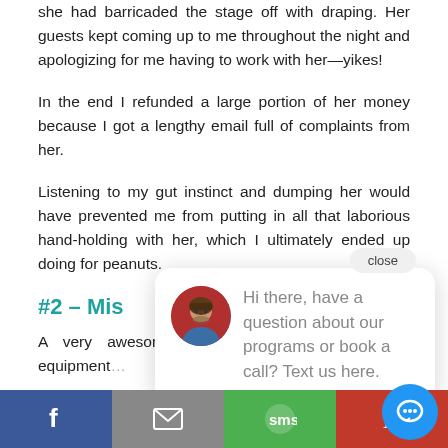she had barricaded the stage off with draping. Her guests kept coming up to me throughout the night and apologizing for me having to work with her—yikes!
In the end I refunded a large portion of her money because I got a lengthy email full of complaints from her.
Listening to my gut instinct and dumping her would have prevented me from putting in all that laborious hand-holding with her, which I ultimately ended up doing for peanuts.
#2 – Mis…
A very awesome… wedding with 60… sound equipment…
The groom said I could just plug into the venue's
[Figure (screenshot): Chat bubble popup with avatar photo of a man and text: 'Hi there, have a question about our programs or book a call? Text us here.' with close button.]
[Figure (screenshot): Social share bar at bottom with Facebook, Email, SMS, Pinterest buttons and a floating blue chat circle button.]